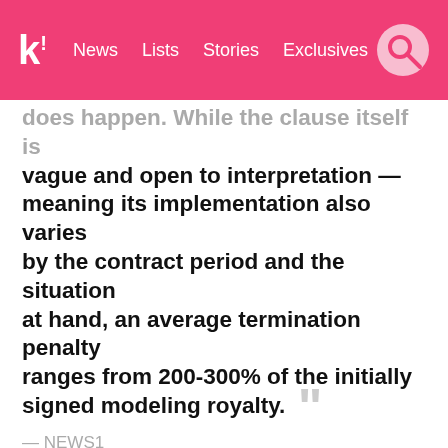Koreaboo — News  Lists  Stories  Exclusives
...does happen. While the clause itself is vague and open to interpretation — meaning its implementation also varies by the contract period and the situation at hand, an average termination penalty ranges from 200-300% of the initially signed modeling royalty. — NEWS1
Peripera is yet to verify whether the brand's contract with (G)I-DLE's Soojin has been or will be terminated.
SOURCE